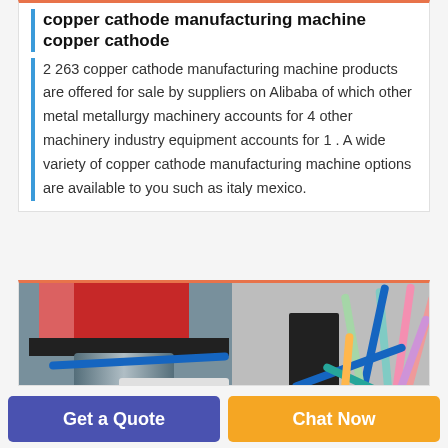copper cathode manufacturing machine copper cathode
2 263 copper cathode manufacturing machine products are offered for sale by suppliers on Alibaba of which other metal metallurgy machinery accounts for 4 other machinery industry equipment accounts for 1 . A wide variety of copper cathode manufacturing machine options are available to you such as italy mexico.
[Figure (photo): Photo of a copper cathode manufacturing machine on the left side showing a red block component, metal cylinder, and white rolled material, with colorful wires bundled on the right side.]
Get a Quote
Chat Now